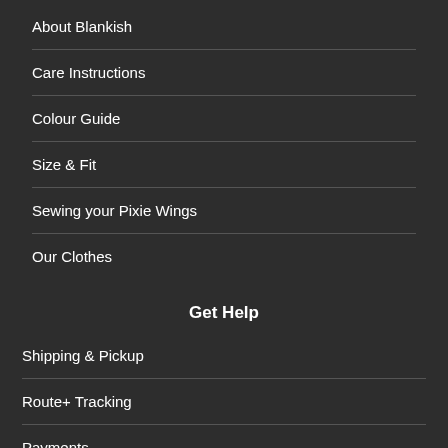About Blankish
Care Instructions
Colour Guide
Size & Fit
Sewing your Pixie Wings
Our Clothes
Get Help
Shipping & Pickup
Route+ Tracking
Payments
Returns